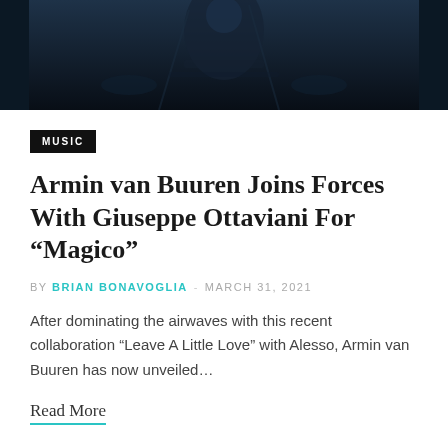[Figure (photo): Dark moody photograph, possibly a DJ or musician silhouetted against a dark background with subtle blue lighting]
MUSIC
Armin van Buuren Joins Forces With Giuseppe Ottaviani For “Magico”
BY BRIAN BONAVOGLIA - MARCH 31, 2021
After dominating the airwaves with this recent collaboration “Leave A Little Love” with Alesso, Armin van Buuren has now unveiled…
Read More